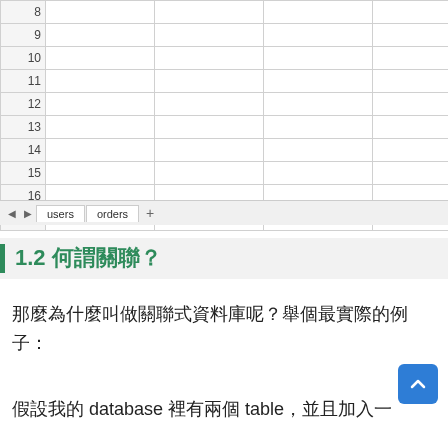[Figure (screenshot): Spreadsheet showing rows 8–17 with row numbers in leftmost column and empty cells in subsequent columns, with tab bar at bottom showing 'users' and 'orders' sheet tabs and a '+' button]
1.2 何謂關聯？
那麼為什麼叫做關聯式資料庫呢？舉個最實際的例子：
假設我的 database 裡有兩個 table，並且加入一